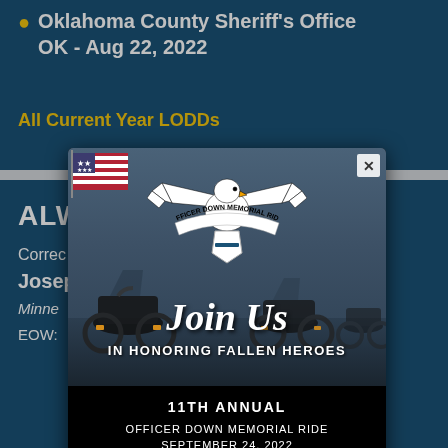Oklahoma County Sheriff's Office OK - Aug 22, 2022
All Current Year LODDs
ALW...
Correc...
Josep...
Minne... n
EOW:...
[Figure (photo): Officer Down Memorial Ride popup modal overlay showing motorcycles in background, eagle logo with 'Officer Down Memorial Ride' text, 'Join Us In Honoring Fallen Heroes' text, '11th Annual Officer Down Memorial Ride September 24, 2022', and a red 'Register Now' button]
[Figure (photo): Portrait photo of a male officer, partially visible at bottom of page]